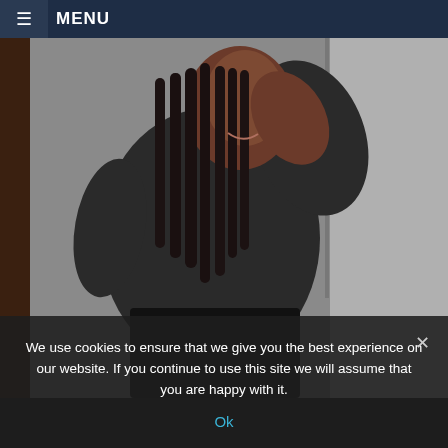≡ MENU
[Figure (photo): A person with long braided hair wearing a dark grey crop top and black pants, posed with arms raised, photographed indoors against a light background.]
We use cookies to ensure that we give you the best experience on our website. If you continue to use this site we will assume that you are happy with it.
Ok